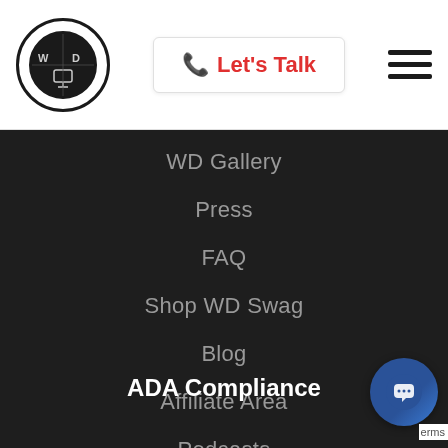[Figure (logo): WD circular logo with W, D letters and a monitor icon in a black circle]
📞 Let's Talk
[Figure (other): Hamburger menu icon with three horizontal lines]
WD Gallery
Press
FAQ
Shop WD Swag
Blog
Affiliate Area
Podcasts
Contact
ADA Compliance
[Figure (other): Chat support widget bubble icon in blue circle]